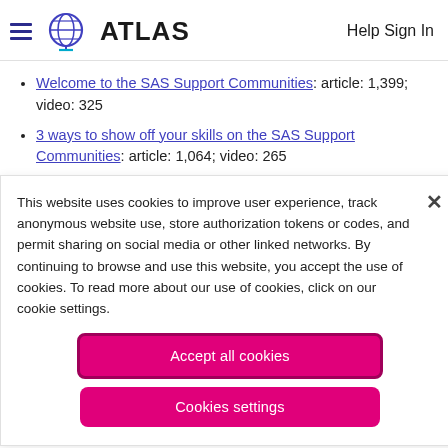ATLAS  Help Sign In
Welcome to the SAS Support Communities: article: 1,399; video: 325
3 ways to show off your skills on the SAS Support Communities: article: 1,064; video: 265
This website uses cookies to improve user experience, track anonymous website use, store authorization tokens or codes, and permit sharing on social media or other linked networks. By continuing to browse and use this website, you accept the use of cookies. To read more about our use of cookies, click on our cookie settings.
Accept all cookies
Cookies settings